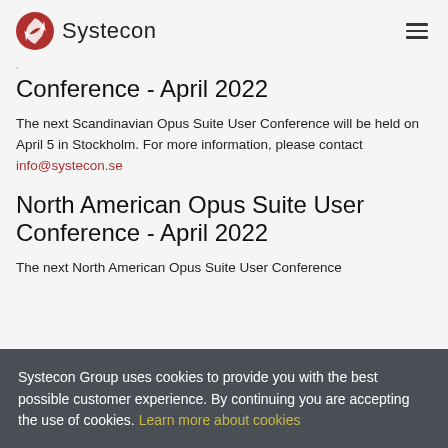Systecon
Conference - April 2022
The next Scandinavian Opus Suite User Conference will be held on April 5 in Stockholm. For more information, please contact info@systecon.se
North American Opus Suite User Conference - April 2022
The next North American Opus Suite User Conference will be held on April 27, 2022. For more information,
Systecon Group uses cookies to provide you with the best possible customer experience. By continuing you are accepting the use of cookies. Learn more about cookies